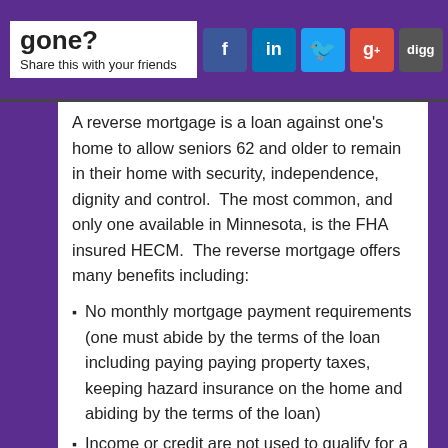gone? Share this with your friends [Facebook, LinkedIn, Twitter, Google+, Digg social icons] [close]
A reverse mortgage is a loan against one's home to allow seniors 62 and older to remain in their home with security, independence, dignity and control.  The most common, and only one available in Minnesota, is the FHA insured HECM.  The reverse mortgage offers many benefits including:
No monthly mortgage payment requirements (one must abide by the terms of the loan including paying paying property taxes, keeping hazard insurance on the home and abiding by the terms of the loan)
Income or credit are not used to qualify for a low interest rate